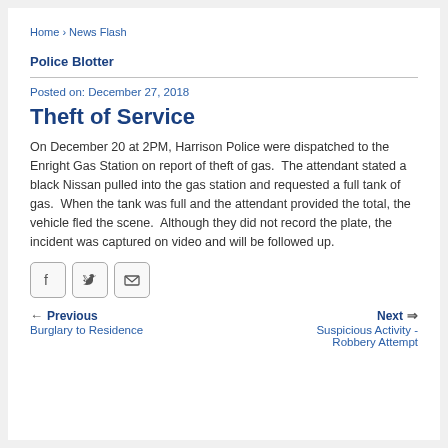Home › News Flash
Police Blotter
Posted on: December 27, 2018
Theft of Service
On December 20 at 2PM, Harrison Police were dispatched to the Enright Gas Station on report of theft of gas.  The attendant stated a black Nissan pulled into the gas station and requested a full tank of gas.  When the tank was full and the attendant provided the total, the vehicle fled the scene.  Although they did not record the plate, the incident was captured on video and will be followed up.
[Figure (other): Social sharing buttons: Facebook, Twitter, Email]
← Previous
Burglary to Residence
Next ⇒
Suspicious Activity - Robbery Attempt